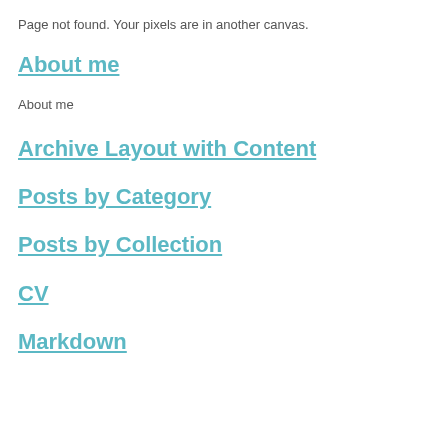Page not found. Your pixels are in another canvas.
About me
About me
Archive Layout with Content
Posts by Category
Posts by Collection
CV
Markdown